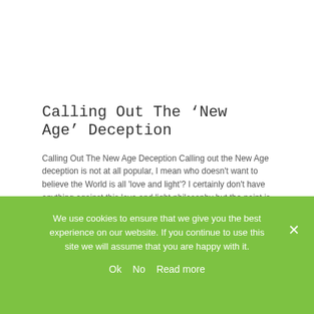Calling Out The 'New Age' Deception
Calling Out The New Age Deception Calling out the New Age deception is not at all popular, I mean who doesn't want to believe the World is all 'love and light'? I certainly don't have anything against this love and light philosophy but the point is can we sort out our own problems [...]
Read More ›
We use cookies to ensure that we give you the best experience on our website. If you continue to use this site we will assume that you are happy with it.
Ok   No   Read more